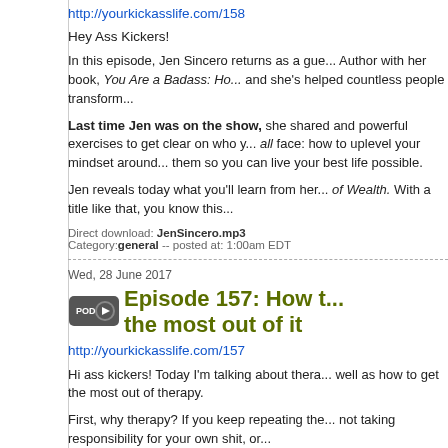http://yourkickasslife.com/158
Hey Ass Kickers!
In this episode, Jen Sincero returns as a guest. She's a New York Times Best Selling Author with her book, You Are a Badass: Ho... and she's helped countless people transform...
Last time Jen was on the show, she shared and powerful exercises to get clear on who you all face: how to uplevel your mindset around them so you can live your best life possible.
Jen reveals today what you'll learn from her of Wealth. With a title like that, you know this...
Direct download: JenSincero.mp3
Category: general -- posted at: 1:00am EDT
Wed, 28 June 2017
[Figure (logo): POD badge icon with circular play button]
Episode 157: How to get the most out of it
http://yourkickasslife.com/157
Hi ass kickers! Today I'm talking about therapy as well as how to get the most out of therapy.
First, why therapy? If you keep repeating the not taking responsibility for your own shit, or...
If you have Family of Origin issues (who does family, but to see what core beliefs were dev...